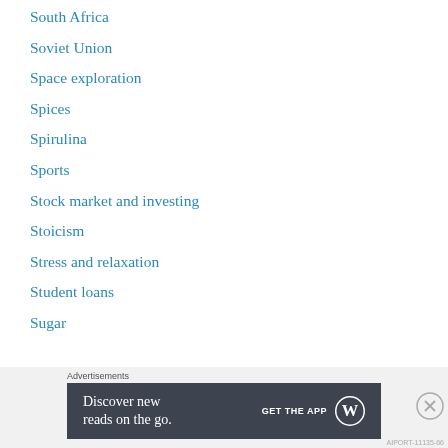South Africa
Soviet Union
Space exploration
Spices
Spirulina
Sports
Stock market and investing
Stoicism
Stress and relaxation
Student loans
Sugar
Advertisements
[Figure (other): WordPress advertisement banner: 'Discover new reads on the go.' with GET THE APP button and WordPress logo]